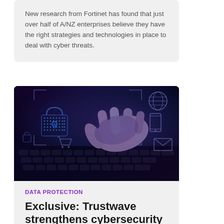New research from Fortinet has found that just over half of A/NZ enterprises believe they have the right strategies and technologies in place to deal with cyber threats.
[Figure (photo): A hand typing on a laptop keyboard with digital cybersecurity icons overlaid — padlock, globe, mobile device, envelope, shopping cart — glowing in blue and purple tones against a dark background.]
DATA PROTECTION
Exclusive: Trustwave strengthens cybersecurity as